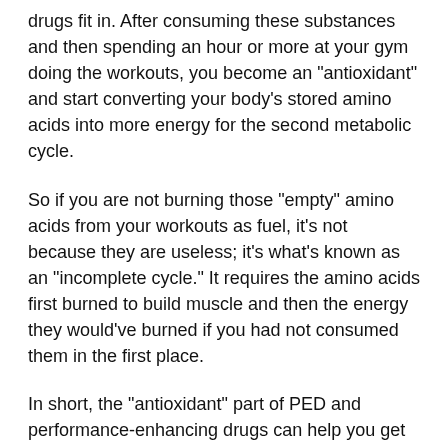drugs fit in. After consuming these substances and then spending an hour or more at your gym doing the workouts, you become an "antioxidant" and start converting your body's stored amino acids into more energy for the second metabolic cycle.
So if you are not burning those "empty" amino acids from your workouts as fuel, it's not because they are useless; it's what's known as an "incomplete cycle." It requires the amino acids first burned to build muscle and then the energy they would've burned if you had not consumed them in the first place.
In short, the "antioxidant" part of PED and performance-enhancing drugs can help you get away with a lot of cheating in the gym and getting ripped. In fact, it may